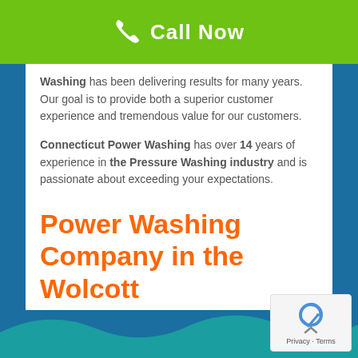Call Now
Washing has been delivering results for many years. Our goal is to provide both a superior customer experience and tremendous value for our customers.
Connecticut Power Washing has over 14 years of experience in the Pressure Washing industry and is passionate about exceeding your expectations.
We love our customers and welcome your feedback and suggestions. Use our Contact Us page to tell us what we're doing right or what we can improve on.
Power Washing Company in the Wolcott